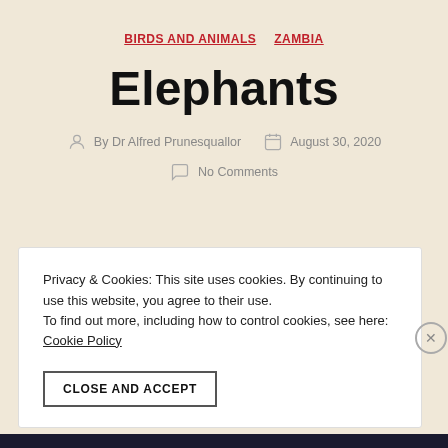BIRDS AND ANIMALS   ZAMBIA
Elephants
By Dr Alfred Prunesquallor   August 30, 2020
No Comments
Privacy & Cookies: This site uses cookies. By continuing to use this website, you agree to their use.
To find out more, including how to control cookies, see here: Cookie Policy
CLOSE AND ACCEPT